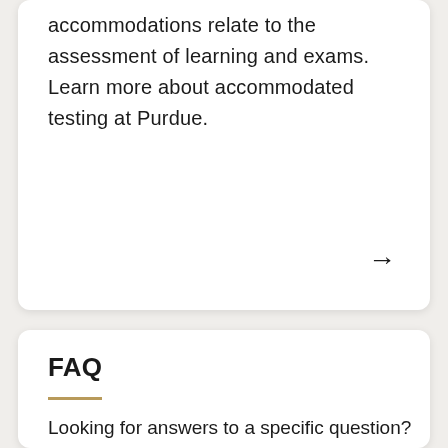accommodations relate to the assessment of learning and exams. Learn more about accommodated testing at Purdue.
FAQ
Looking for answers to a specific question? Our FAQ page has all